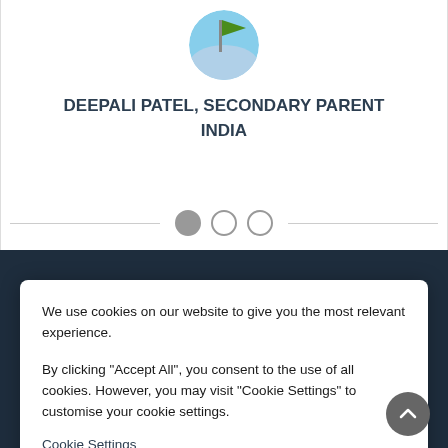[Figure (illustration): Circular avatar showing a flag (green and white) over a blue/white sky background]
DEEPALI PATEL, SECONDARY PARENT
INDIA
[Figure (infographic): Carousel pagination dots — three circles in a row with a horizontal line through them, first dot filled/active]
We use cookies on our website to give you the most relevant experience.

By clicking "Accept All", you consent to the use of all cookies. However, you may visit "Cookie Settings" to customise your cookie settings.
Cookie Settings
Accept All